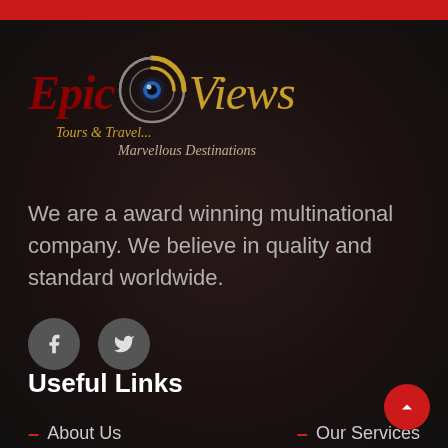[Figure (logo): Epic Views Tours & Travel logo with eye graphic and tagline 'Marvellous Destinations']
We are a award winning multinational company. We believe in quality and standard worldwide.
[Figure (illustration): Social media buttons: Facebook and Twitter circular icons]
Useful Links
About Us
Our Services